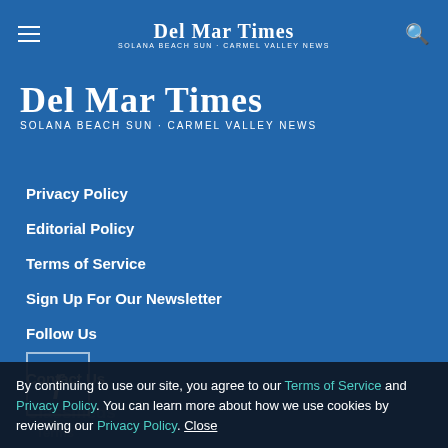Del Mar Times — Solana Beach Sun · Carmel Valley News
[Figure (logo): Del Mar Times logo with subtitle Solana Beach Sun · Carmel Valley News on blue background]
Privacy Policy
Editorial Policy
Terms of Service
Sign Up For Our Newsletter
Follow Us
[Figure (logo): Facebook icon in a square border]
Contact Us
By continuing to use our site, you agree to our Terms of Service and Privacy Policy. You can learn more about how we use cookies by reviewing our Privacy Policy. Close